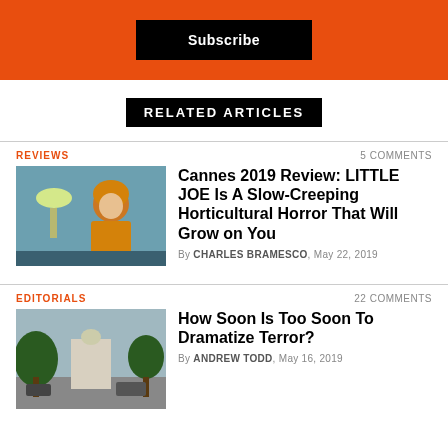[Figure (other): Orange banner with black Subscribe button]
RELATED ARTICLES
REVIEWS | 5 COMMENTS
[Figure (photo): Movie still from Little Joe: a child with orange hair in a yellow shirt standing in a room with a lamp]
Cannes 2019 Review: LITTLE JOE Is A Slow-Creeping Horticultural Horror That Will Grow on You
By CHARLES BRAMESCO, May 22, 2019
EDITORIALS | 22 COMMENTS
[Figure (photo): Outdoor street scene with trees and a building in the background]
How Soon Is Too Soon To Dramatize Terror?
By ANDREW TODD, May 16, 2019